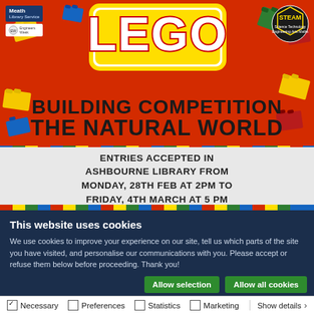[Figure (illustration): LEGO Building Competition poster with red background, LEGO logo in yellow/white at top center, Meath Library Service logo top-left, STEAM badge top-right, text reading 'BUILDING COMPETITION THE NATURAL WORLD', a white brick baseplate area with text 'ENTRIES ACCEPTED IN ASHBOURNE LIBRARY FROM MONDAY, 28TH FEB AT 2PM TO FRIDAY, 4TH MARCH AT 5 PM', colorful LEGO bricks and a green crocodile and tree decoration]
This website uses cookies
We use cookies to improve your experience on our site, tell us which parts of the site you have visited, and personalise our communications with you. Please accept or refuse them below before proceeding. Thank you!